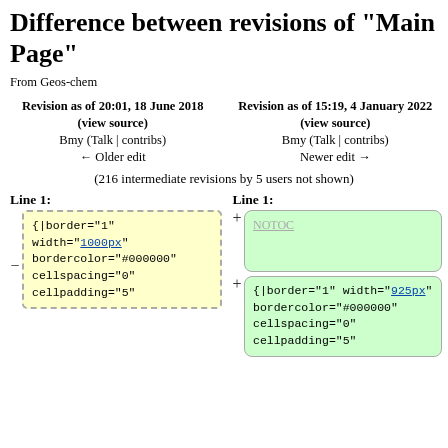Difference between revisions of "Main Page"
From Geos-chem
Revision as of 20:01, 18 June 2018 (view source)
Bmy (Talk | contribs)
← Older edit
Revision as of 15:19, 4 January 2022 (view source)
Bmy (Talk | contribs)
Newer edit →
(216 intermediate revisions by 5 users not shown)
Line 1:
Line 1:
{|border="1" width="1000px"
bordercolor="#000000"
cellspacing="0" cellpadding="5"
NOTOC
{|border="1" width="925px"
bordercolor="#000000"
cellspacing="0" cellpadding="5"